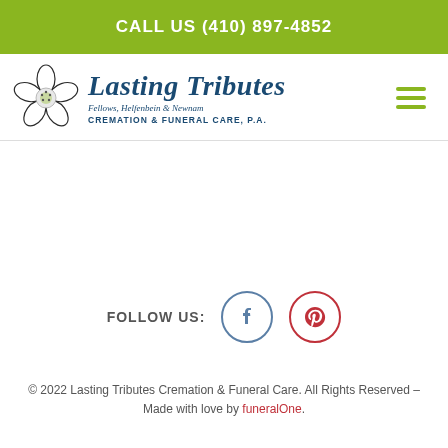CALL US (410) 897-4852
[Figure (logo): Lasting Tributes Fellows, Helfenbein & Newnam Cremation & Funeral Care, P.A. logo with a dogwood flower illustration]
FOLLOW US:
[Figure (illustration): Facebook icon circle button (blue border)]
[Figure (illustration): Pinterest icon circle button (red border)]
© 2022 Lasting Tributes Cremation & Funeral Care. All Rights Reserved – Made with love by funeralOne.